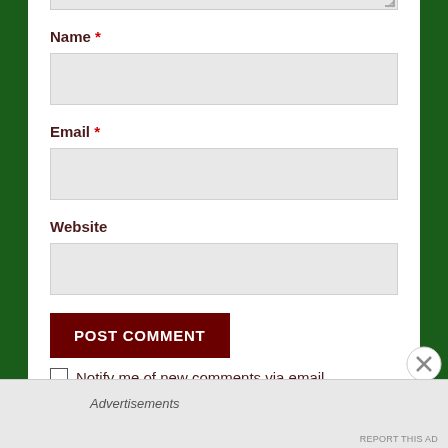[Figure (screenshot): Top portion of a textarea input field with resize handle visible at bottom right corner]
Name *
[Figure (screenshot): Empty text input field for Name]
Email *
[Figure (screenshot): Empty text input field for Email]
Website
[Figure (screenshot): Empty text input field for Website]
[Figure (screenshot): POST COMMENT button in dark red/maroon color]
Notify me of new comments via email.
Advertisements
REPORT THIS AD